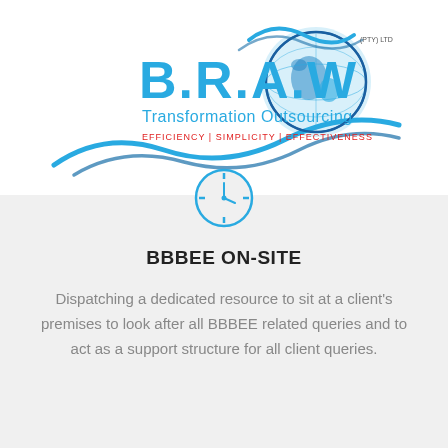[Figure (logo): B.R.A.W Transformation Outsourcing logo with globe and blue wave design. Text: B.R.A.W, Transformation Outsourcing, EFFICIENCY | SIMPLICITY | EFFECTIVENESS, (PTY) LTD]
[Figure (illustration): Clock/time icon in blue outline style]
BBBEE ON-SITE
Dispatching a dedicated resource to sit at a client's premises to look after all BBBEE related queries and to act as a support structure for all client queries.